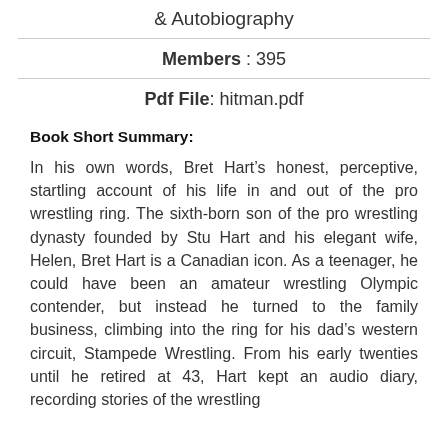& Autobiography
Members : 395
Pdf File: hitman.pdf
Book Short Summary:
In his own words, Bret Hart’s honest, perceptive, startling account of his life in and out of the pro wrestling ring. The sixth-born son of the pro wrestling dynasty founded by Stu Hart and his elegant wife, Helen, Bret Hart is a Canadian icon. As a teenager, he could have been an amateur wrestling Olympic contender, but instead he turned to the family business, climbing into the ring for his dad’s western circuit, Stampede Wrestling. From his early twenties until he retired at 43, Hart kept an audio diary, recording stories of the wrestling